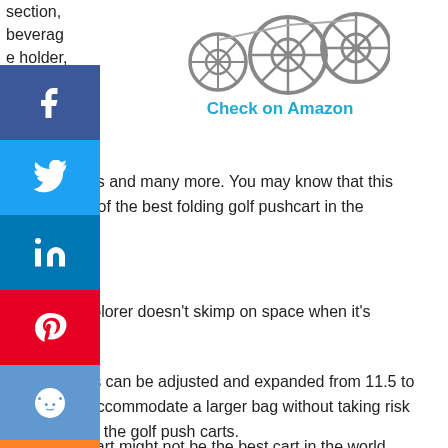section, beverage holder, and a
[Figure (photo): Golf push cart wheels/axle assembly, silver metal, three wheels visible]
Check on Amazon
sh net balls and tees and many more. You may know that this h cart is one of the best folding golf pushcart in the ket.
Superlite Explorer doesn't skimp on space when it's ned.
ront 2 wheels can be adjusted and expanded from 11.5 to 5 inches to accommodate a larger bag without taking risk he stability of the golf push carts.
s golf push cart might not be the best cart in the world,